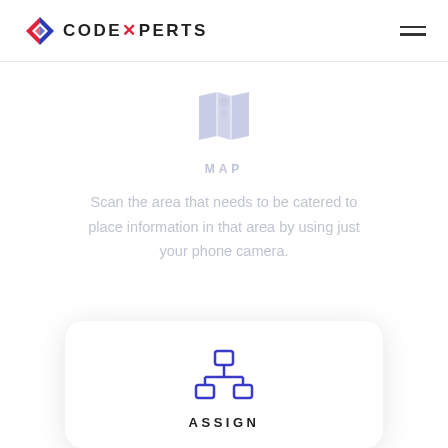[Figure (logo): Codexperts logo with diamond icon in red and blue, followed by CODEXPERTS text in bold]
[Figure (illustration): Hamburger menu icon (three horizontal lines) in top right corner]
[Figure (illustration): Map icon with location pin, light purple/lavender color]
MAP
Scan the area that needs to be catered to place information in that area by using just your phone camera.
[Figure (illustration): Network/hierarchy icon in dark blue/indigo showing connected nodes]
ASSIGN